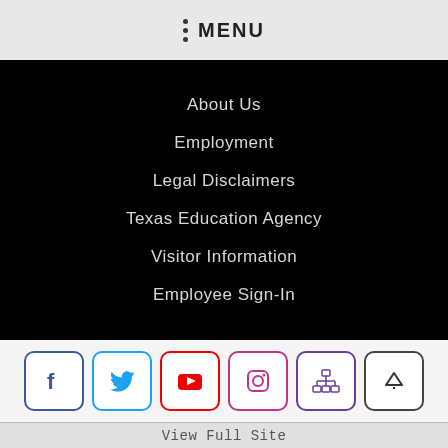MENU
About Us
Employment
Legal Disclaimers
Texas Education Agency
Visitor Information
Employee Sign-In
[Figure (other): Social media icon buttons: Facebook, Twitter, YouTube, Instagram, Sitemap, Scroll-to-top]
View Full Site